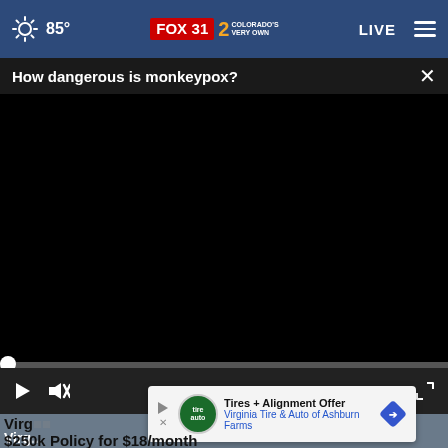85° FOX 31 2 COLORADO'S VERY OWN LIVE
How dangerous is monkeypox?
[Figure (screenshot): Video player showing black screen with playback controls. Progress bar at bottom shows 00:00 timestamp.]
[Figure (screenshot): Advertisement banner: Tires + Alignment Offer - Virginia Tire & Auto of Ashburn Farms]
Virg...
$250k Policy for $18/month